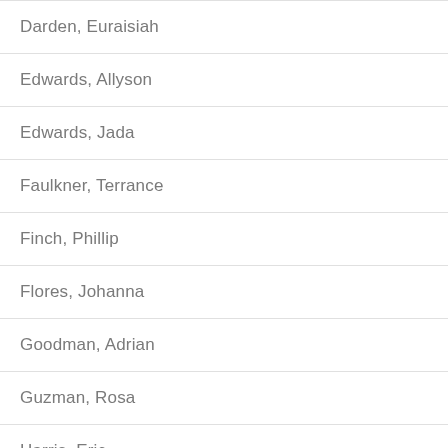| Darden, Euraisiah |
| Edwards, Allyson |
| Edwards, Jada |
| Faulkner, Terrance |
| Finch, Phillip |
| Flores, Johanna |
| Goodman, Adrian |
| Guzman, Rosa |
| Harris, Eric |
| Honeycutt, Max |
| Hunter, Alanna |